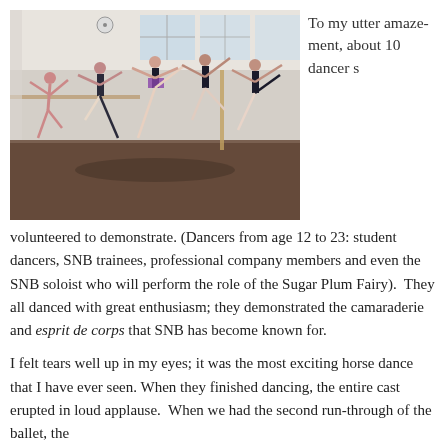[Figure (photo): Ballet dancers in a studio practice space, several performing arabesques and high kicks with arms raised, wearing black leotards and dance attire, with ballet barres and large windows visible in the background.]
To my utter amazement, about 10 dancers volunteered to demonstrate. (Dancers from age 12 to 23: student dancers, SNB trainees, professional company members and even the SNB soloist who will perform the role of the Sugar Plum Fairy).  They all danced with great enthusiasm; they demonstrated the camaraderie and esprit de corps that SNB has become known for.
I felt tears well up in my eyes; it was the most exciting horse dance that I have ever seen. When they finished dancing, the entire cast erupted in loud applause.  When we had the second run-through of the ballet, the